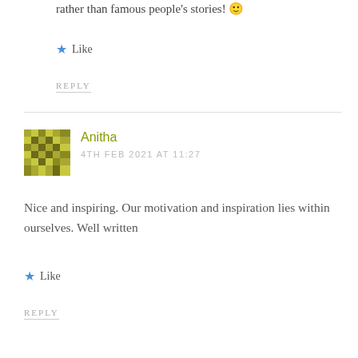rather than famous people's stories! 🙂
★ Like
REPLY
Anitha
4TH FEB 2021 AT 11:27
Nice and inspiring. Our motivation and inspiration lies within ourselves. Well written
★ Like
REPLY